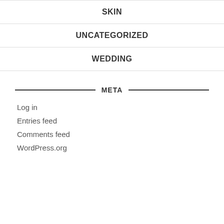SKIN
UNCATEGORIZED
WEDDING
META
Log in
Entries feed
Comments feed
WordPress.org